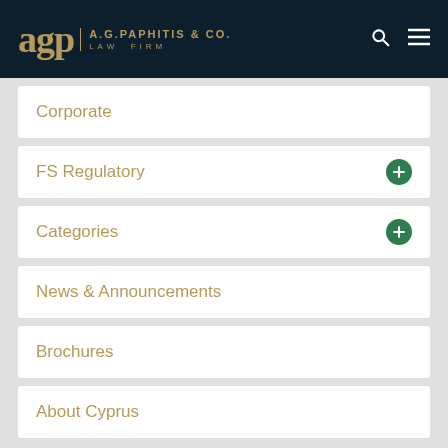A.G. PAPHITIS & CO. LAW FIRM
Corporate
FS Regulatory
Categories
News & Announcements
Brochures
About Cyprus